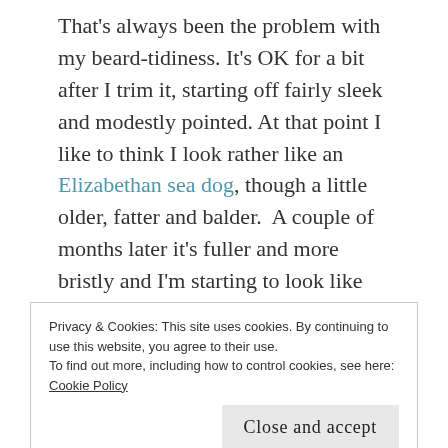That's always been the problem with my beard-tidiness. It's OK for a bit after I trim it, starting off fairly sleek and modestly pointed. At that point I like to think I look rather like an Elizabethan sea dog, though a little older, fatter and balder. A couple of months later it's fuller and more bristly and I'm starting to look like the skipper of a tramp steamer. Shortly after that it gets a spurt on and overnight I find myself looking like I sleep in the woods…
I've left it to see if it will get even longer but it seems to settle at that level. I can scare children, but
Privacy & Cookies: This site uses cookies. By continuing to use this website, you agree to their use.
To find out more, including how to control cookies, see here: Cookie Policy
Close and accept
both my appearance and character deteriorate until